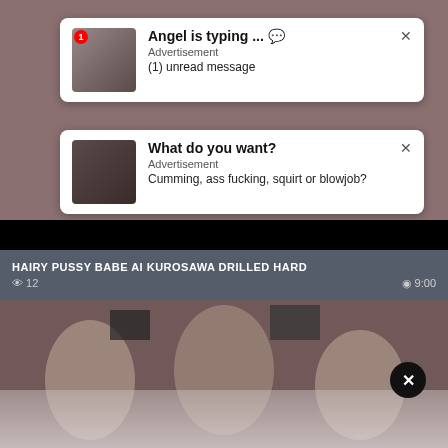[Figure (screenshot): Adult website screenshot showing two advertisement pop-up notifications over background image, a video title bar, and a video thumbnail below.]
Angel is typing ... 💬
Advertisement
(1) unread message
What do you want?
Advertisement
Cumming, ass fucking, squirt or blowjob?
HAIRY PUSSY BABE AI KUROSAWA DRILLED HARD
👁 12	© 9:00